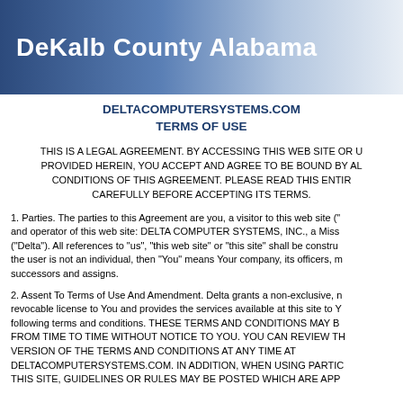[Figure (other): DeKalb County Alabama header banner with blue gradient background and white bold text]
DELTACOMPUTERSYSTEMS.COM TERMS OF USE
THIS IS A LEGAL AGREEMENT. BY ACCESSING THIS WEB SITE OR USING THE SERVICES PROVIDED HEREIN, YOU ACCEPT AND AGREE TO BE BOUND BY ALL TERMS AND CONDITIONS OF THIS AGREEMENT. PLEASE READ THIS ENTIRE AGREEMENT CAREFULLY BEFORE ACCEPTING ITS TERMS.
1. Parties. The parties to this Agreement are you, a visitor to this web site ("You") and operator of this web site: DELTA COMPUTER SYSTEMS, INC., a Mississippi corporation ("Delta"). All references to "us", "this web site" or "this site" shall be construed accordingly. If the user is not an individual, then "You" means Your company, its officers, members, successors and assigns.
2. Assent To Terms of Use And Amendment. Delta grants a non-exclusive, non-transferable, revocable license to You and provides the services available at this site to You subject to the following terms and conditions. THESE TERMS AND CONDITIONS MAY BE CHANGED BY DELTA FROM TIME TO TIME WITHOUT NOTICE TO YOU. YOU CAN REVIEW THE MOST CURRENT VERSION OF THE TERMS AND CONDITIONS AT ANY TIME AT DELTACOMPUTERSYSTEMS.COM. IN ADDITION, WHEN USING PARTICULAR SERVICES OF THIS SITE, GUIDELINES OR RULES MAY BE POSTED WHICH ARE APP